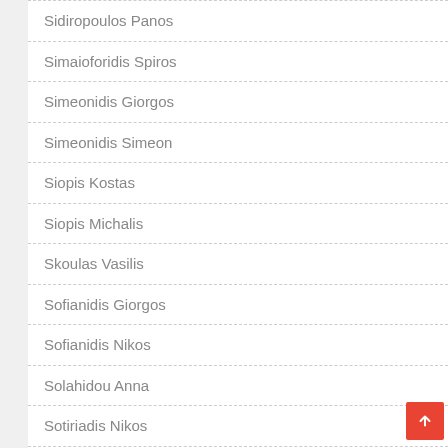Sidiropoulos Panos
Simaioforidis Spiros
Simeonidis Giorgos
Simeonidis Simeon
Siopis Kostas
Siopis Michalis
Skoulas Vasilis
Sofianidis Giorgos
Sofianidis Nikos
Solahidou Anna
Sotiriadis Nikos
Sotiriadis Vasilis